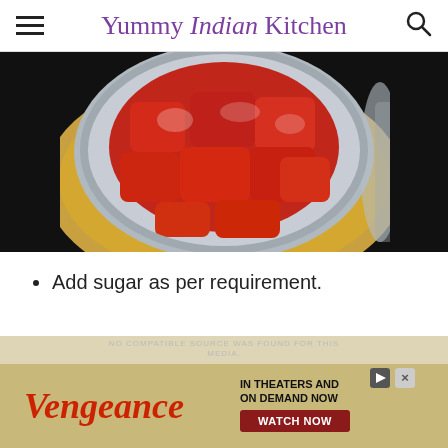Yummy Indian Kitchen
[Figure (photo): Overhead view of chopped strawberries in a silver blender jar placed on a wooden cutting board, with dark background]
Add sugar as per requirement.
[Figure (other): Advertisement banner for Vengeance movie - IN THEATERS AND ON DEMAND NOW, WATCH NOW]